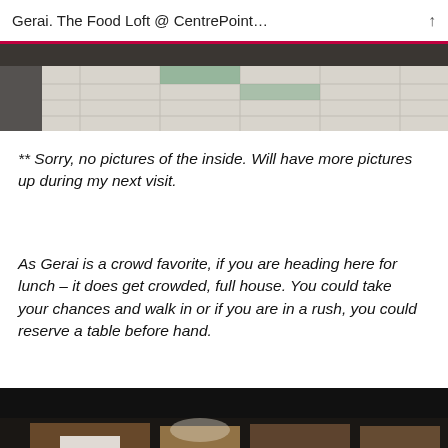Gerai. The Food Loft @ CentrePoint…
[Figure (photo): Top portion of a photo showing tiled floor with green accent tiles, partially cropped]
** Sorry, no pictures of the inside. Will have more pictures up during my next visit.
As Gerai is a crowd favorite, if you are heading here for lunch – it does get crowded, full house. You could take your chances and walk in or if you are in a rush, you could reserve a table before hand.
[Figure (photo): Bottom photo showing a restaurant table with food items, mostly dark with some warm-toned food visible at the bottom]